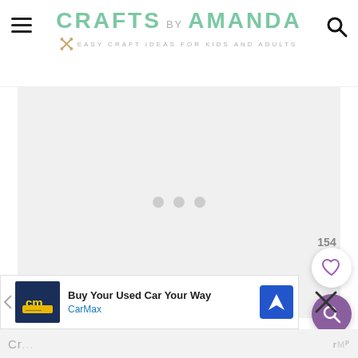CRAFTS BY AMANDA — Easy Craft Ideas for Kids and Adults
[Figure (screenshot): Main content area with light gray background and three loading dots centered]
154
[Figure (infographic): Heart icon (like button) in white circle, and purple search magnifying glass button]
[Figure (infographic): Advertisement bar: CarMax — Buy Your Used Car Your Way, with blue logo and navigation icon]
Cr... rM...